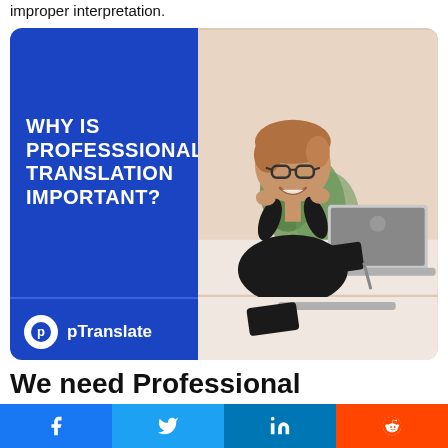improper interpretation.
[Figure (illustration): Promotional image split into two halves: left blue panel with bold white text 'WHY IS PROFESSSIONAL TRANSLATION IMPORTANT?' and bottom pTranslate logo; right half shows a smiling woman with glasses sitting at a laptop with a plant in background.]
We need Professional Translation Service for
Facebook | Twitter | LinkedIn | Reddit social share buttons